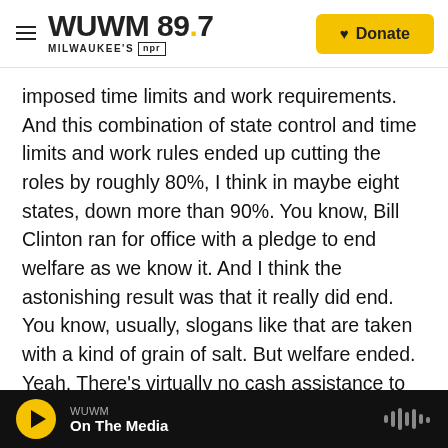WUWM 89.7 MILWAUKEE'S NPR | Donate
imposed time limits and work requirements. And this combination of state control and time limits and work rules ended up cutting the roles by roughly 80%, I think in maybe eight states, down more than 90%. You know, Bill Clinton ran for office with a pledge to end welfare as we know it. And I think the astonishing result was that it really did end. You know, usually, slogans like that are taken with a kind of grain of salt. But welfare ended. Yeah. There's virtually no cash assistance to poor families anymore. It's very hard to get.
DAVIES: And then in 2017, the tax bill that President
WUWM | On The Media